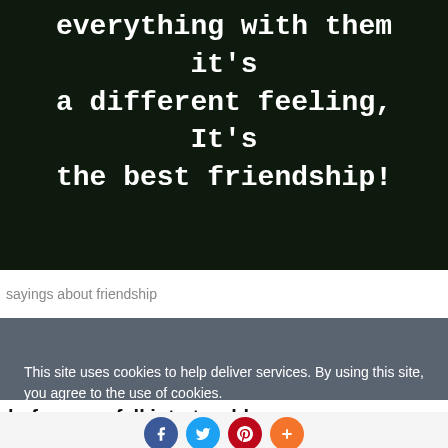[Figure (illustration): Dark green/black background with white monospace bold text: 'everything with them it's a different feeling, It's the best friendship!']
sayings about friendship
This site uses cookies to help deliver services. By using this site, you agree to the use of cookies. LEARN MORE OK
before you fall into trouble.
[Figure (infographic): Social sharing icons: Facebook (blue circle with f), Twitter (blue circle with bird), Pinterest (red circle with P), Plus/share (orange circle with +)]